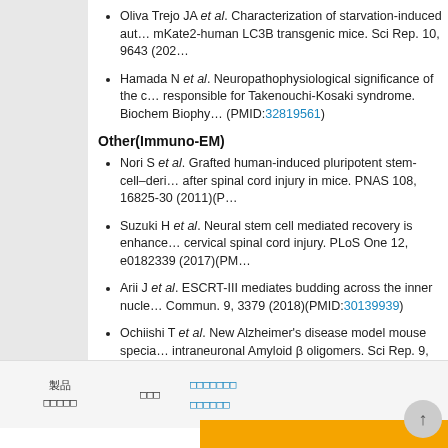Oliva Trejo JA et al. Characterization of starvation-induced autophagy in mKate2-human LC3B transgenic mice. Sci Rep. 10, 9643 (2020)
Hamada N et al. Neuropathophysiological significance of the c.428_429insACTT mutation responsible for Takenouchi-Kosaki syndrome. Biochem Biophys... (PMID:32819561)
Other(Immuno-EM)
Nori S et al. Grafted human-induced pluripotent stem-cell–derived neurospheres after spinal cord injury in mice. PNAS 108, 16825-30 (2011)(P...)
Suzuki H et al. Neural stem cell mediated recovery is enhanced by Chondroitinase in cervical spinal cord injury. PLoS One 12, e0182339 (2017)(PM...)
Arii J et al. ESCRT-III mediates budding across the inner nuclear membrane. Nat Commun. 9, 3379 (2018)(PMID:30139939)
Ochiishi T et al. New Alzheimer's disease model mouse specially designed to evaluate intraneuronal Amyloid β oligomers. Sci Rep. 9, 17368 (2019)(P...)
Arii J et al. ESCRT-III controls nuclear envelope deformation in... (PMID:33139753)
製品情報 | 引用文献 | お問い合わせ・見積依頼